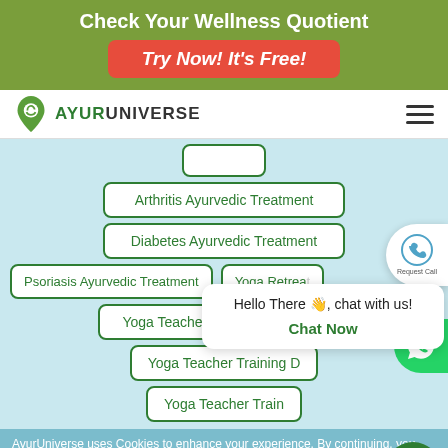Check Your Wellness Quotient
Try Now! It's Free!
[Figure (logo): AyurUniverse logo with green leaf/pin icon and AYURUNIVERSE text]
Arthritis Ayurvedic Treatment
Diabetes Ayurvedic Treatment
Psoriasis Ayurvedic Treatment
Yoga Retreat
Yoga Teacher Training Rishikesh
Yoga Teacher Training D...
Yoga Teacher Train...
Hello There 👋, chat with us!
Chat Now
AyurUniverse uses Cookies to enhance your experience. By continuing, you agree to our use of cookies. Find out more
Accept & Close